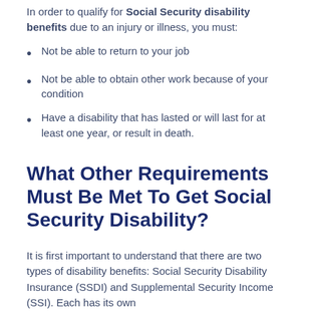In order to qualify for Social Security disability benefits due to an injury or illness, you must:
Not be able to return to your job
Not be able to obtain other work because of your condition
Have a disability that has lasted or will last for at least one year, or result in death.
What Other Requirements Must Be Met To Get Social Security Disability?
It is first important to understand that there are two types of disability benefits: Social Security Disability Insurance (SSDI) and Supplemental Security Income (SSI). Each has its own